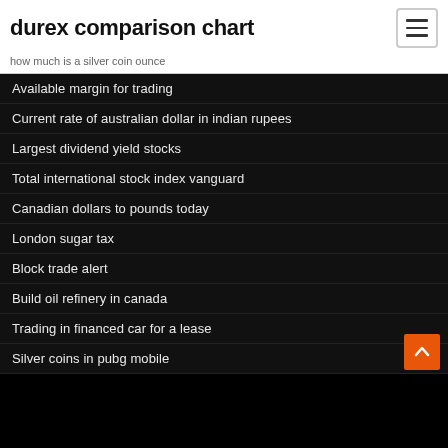durex comparison chart
how much is a silver coin ounce
Available margin for trading
Current rate of australian dollar in indian rupees
Largest dividend yield stocks
Total international stock index vanguard
Canadian dollars to pounds today
London sugar tax
Block trade alert
Build oil refinery in canada
Trading in financed car for a lease
Silver coins in pubg mobile